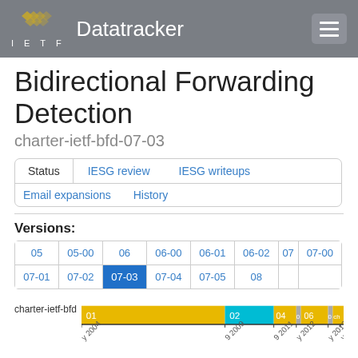IETF Datatracker
Bidirectional Forwarding Detection
charter-ietf-bfd-07-03
Status | IESG review | IESG writeups | Email expansions | History
Versions:
| 05 | 05-00 | 06 | 06-00 | 06-01 | 06-02 | 07 | 07-00 |
| 07-01 | 07-02 | 07-03 | 07-04 | 07-05 | 08 |
[Figure (other): Horizontal timeline bar chart showing charter-ietf-bfd versions over time from 2004 to 2014, with colored segments: yellow (01), cyan (02), yellow (04, 06) and small segments, with year labels on x-axis]